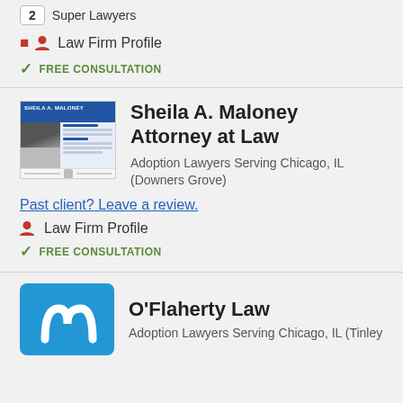2  Super Lawyers
Law Firm Profile
FREE CONSULTATION
[Figure (screenshot): Screenshot thumbnail of Sheila A. Maloney Attorney at Law website showing a blue header, navigation bar, photos of people, and text content]
Sheila A. Maloney Attorney at Law
Adoption Lawyers Serving Chicago, IL (Downers Grove)
Past client? Leave a review.
Law Firm Profile
FREE CONSULTATION
[Figure (logo): O'Flaherty Law logo: blue square with white letter M-shaped arch icon]
O'Flaherty Law
Adoption Lawyers Serving Chicago, IL (Tinley